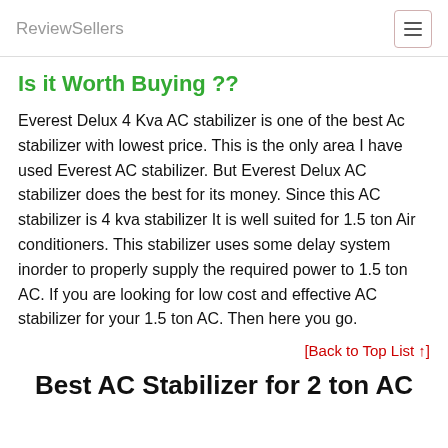ReviewSellers
Is it Worth Buying ??
Everest Delux 4 Kva AC stabilizer is one of the best Ac stabilizer with lowest price. This is the only area I have used Everest AC stabilizer. But Everest Delux AC stabilizer does the best for its money. Since this AC stabilizer is 4 kva stabilizer It is well suited for 1.5 ton Air conditioners. This stabilizer uses some delay system inorder to properly supply the required power to 1.5 ton AC. If you are looking for low cost and effective AC stabilizer for your 1.5 ton AC. Then here you go.
[Back to Top List ↑]
Best AC Stabilizer for 2 ton AC